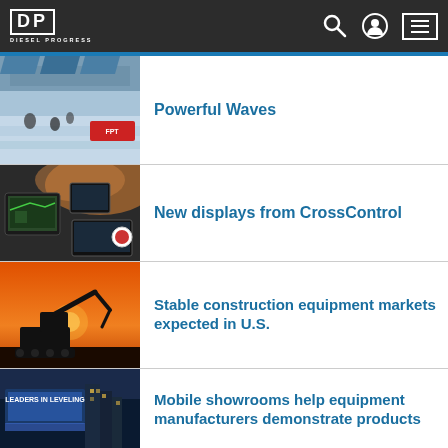Diesel Progress
[Figure (photo): Photo of a water sports event with FPT branding, boats and athletes on water]
Powerful Waves
[Figure (photo): CrossControl display units shown against dusty construction background]
New displays from CrossControl
[Figure (photo): Silhouette of construction excavator against orange sunset sky]
Stable construction equipment markets expected in U.S.
[Figure (photo): Mobile showroom with 'Leaders in Leveling' signage lit up at night]
Mobile showrooms help equipment manufacturers demonstrate products